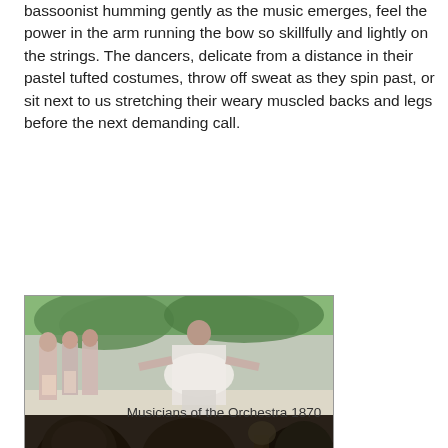bassoonist humming gently as the music emerges, feel the power in the arm running the bow so skillfully and lightly on the strings. The dancers, delicate from a distance in their pastel tufted costumes, throw off sweat as they spin past, or sit next to us stretching their weary muscled backs and legs before the next demanding call.
[Figure (photo): Painting by Degas showing ballet dancers on stage in pastel tutus above orchestra musicians in dark formal wear in the foreground, Musicians of the Orchestra 1870]
Musicians of the Orchestra 1870